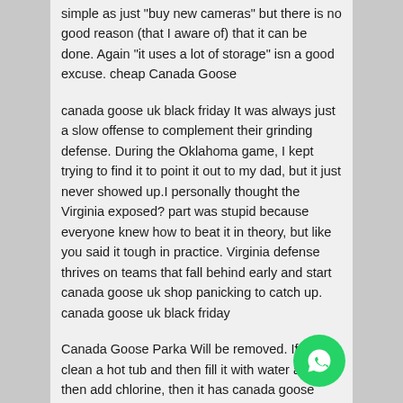simple as just "buy new cameras" but there is no good reason (that I aware of) that it can be done. Again "it uses a lot of storage" isn a good excuse. cheap Canada Goose
canada goose uk black friday It was always just a slow offense to complement their grinding defense. During the Oklahoma game, I kept trying to find it to point it out to my dad, but it just never showed up.I personally thought the Virginia exposed? part was stupid because everyone knew how to beat it in theory, but like you said it tough in practice. Virginia defense thrives on teams that fall behind early and start canada goose uk shop panicking to catch up. canada goose uk black friday
Canada Goose Parka Will be removed. If you clean a hot tub and then fill it with water and then add chlorine, then it has canada goose outlet vancouver the pool smell even though nobody has been in it yet. If you open a bottle of bleach and just smell in the general vicinity, then you will notice that it also smells like a pool.. Canada Goose Parka
canada goose clearance sale I would hope that 2K